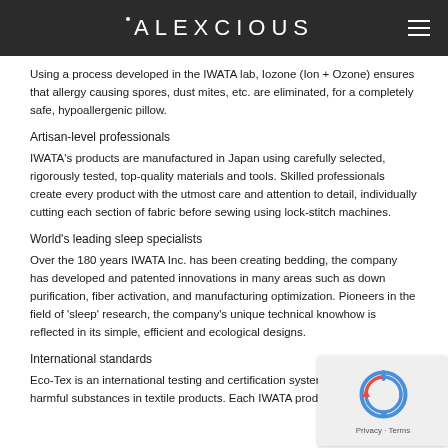ALEXCIOUS
Using a process developed in the IWATA lab, Iozone (Ion + Ozone) ensures that allergy causing spores, dust mites, etc. are eliminated, for a completely safe, hypoallergenic pillow.
Artisan-level professionals
IWATA's products are manufactured in Japan using carefully selected, rigorously tested, top-quality materials and tools. Skilled professionals create every product with the utmost care and attention to detail, individually cutting each section of fabric before sewing using lock-stitch machines.
World's leading sleep specialists
Over the 180 years IWATA Inc. has been creating bedding, the company has developed and patented innovations in many areas such as down purification, fiber activation, and manufacturing optimization. Pioneers in the field of 'sleep' research, the company's unique technical knowhow is reflected in its simple, efficient and ecological designs.
International standards
Eco-Tex is an international testing and certification system for screening harmful substances in textile products. Each IWATA product carries Eco-Tex